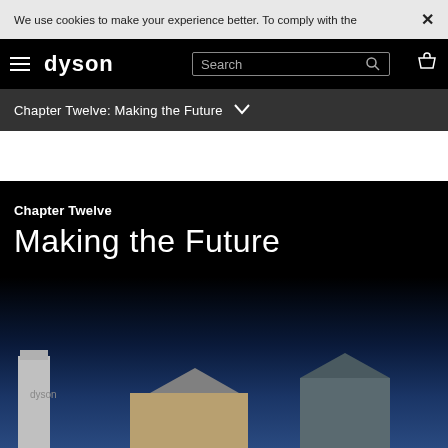We use cookies to make your experience better. To comply with the ×
dyson | Search | [hamburger] [search] [basket]
Chapter Twelve: Making the Future ∨
Chapter Twelve
Making the Future
[Figure (photo): Dark background image showing building silhouettes (possibly a factory or industrial building) against a twilight blue sky, visible at the bottom of the page.]